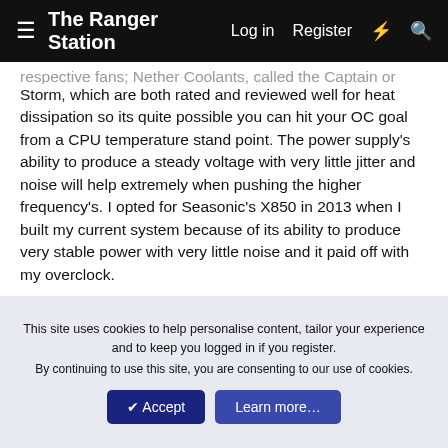The Ranger Station | Log in | Register
...respective fans; Nether Coolants, called the Captain or Canne... Storm, which are both rated and reviewed well for heat dissipation so its quite possible you can hit your OC goal from a CPU temperature stand point. The power supply's ability to produce a steady voltage with very little jitter and noise will help extremely when pushing the higher frequency's. I opted for Seasonic's X850 in 2013 when I built my current system because of its ability to produce very stable power with very little noise and it paid off with my overclock.
I wish AMD's memory controllers were as good as Intel's to get a good RAM overclock but this has been one of Intel's strengths since the Intel went with the controller in the chip. You know about Memtest for checking RAM stability right? Unstable ram can present as other issues if the OC isn't...
This site uses cookies to help personalise content, tailor your experience and to keep you logged in if you register.
By continuing to use this site, you are consenting to our use of cookies.